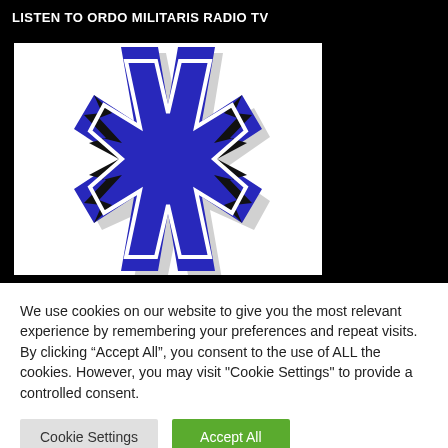LISTEN TO ORDO MILITARIS RADIO TV
[Figure (logo): Ordo Militaris logo: a blue Maltese/Iron cross with black lightning bolt decorations on a white background, with a shadow effect.]
We use cookies on our website to give you the most relevant experience by remembering your preferences and repeat visits. By clicking “Accept All”, you consent to the use of ALL the cookies. However, you may visit "Cookie Settings" to provide a controlled consent.
Cookie Settings | Accept All